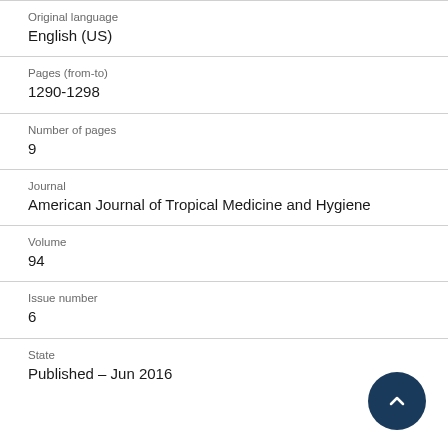Original language
English (US)
Pages (from-to)
1290-1298
Number of pages
9
Journal
American Journal of Tropical Medicine and Hygiene
Volume
94
Issue number
6
State
Published – Jun 2016